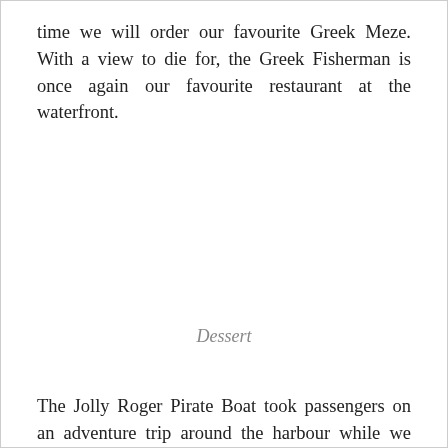time we will order our favourite Greek Meze. With a view to die for, the Greek Fisherman is once again our favourite restaurant at the waterfront.
Dessert
The Jolly Roger Pirate Boat took passengers on an adventure trip around the harbour while we were having lunch. It looked exciting and we would like to